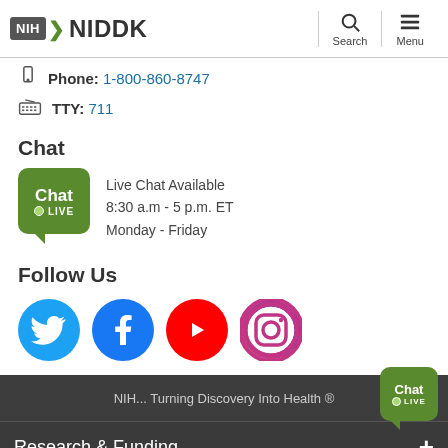NIH NIDDK — Search — Menu
Phone: 1-800-860-8747
TTY: 711
Chat
[Figure (logo): Green Chat LIVE badge with speech bubble tail]
Live Chat Available
8:30 a.m - 5 p.m. ET
Monday - Friday
Follow Us
[Figure (logo): Social media icons: Twitter (blue bird), Facebook (blue f), YouTube (red play button), Instagram (purple/pink camera)]
NIH... Turning Discovery Into Health ®
Research & Funding